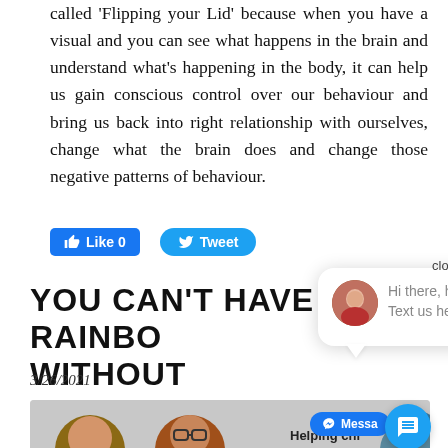called 'Flipping your Lid' because when you have a visual and you can see what happens in the brain and understand what's happening in the body, it can help us gain conscious control over our behaviour and bring us back into right relationship with ourselves, change what the brain does and change those negative patterns of behaviour.
[Figure (screenshot): Facebook Like button (Like 0) and Twitter Tweet button]
YOU CAN'T HAVE A RAINBOW WITHOUT
3/26/2021
[Figure (screenshot): Chat popup with close button, avatar of a woman, and text 'Hi there, have a question? Text us here.']
[Figure (photo): Partial image strip showing children's faces and text 'Helping chi...' with Messenger button and chat FAB icon]